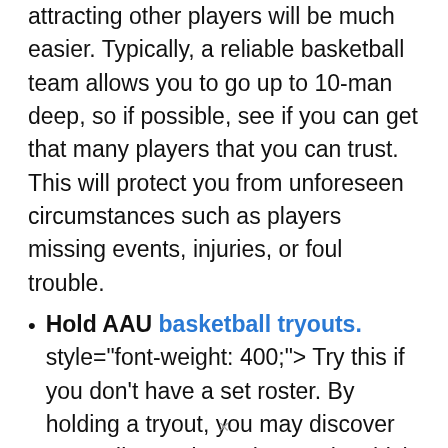attracting other players will be much easier. Typically, a reliable basketball team allows you to go up to 10-man deep, so if possible, see if you can get that many players that you can trust. This will protect you from unforeseen circumstances such as players missing events, injuries, or foul trouble.
Hold AAU basketball tryouts. style="font-weight: 400;"> Try this if you don't have a set roster. By holding a tryout, you may discover some diamonds on the rough, which could take your campaign to another level